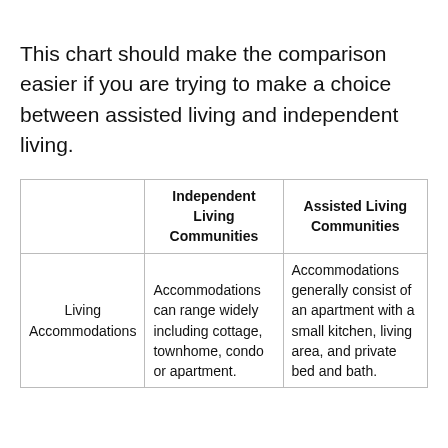This chart should make the comparison easier if you are trying to make a choice between assisted living and independent living.
|  | Independent Living Communities | Assisted Living Communities |
| --- | --- | --- |
| Living Accommodations | Accommodations can range widely including cottage, townhome, condo or apartment. | Accommodations generally consist of an apartment with a small kitchen, living area, and private bed and bath. |